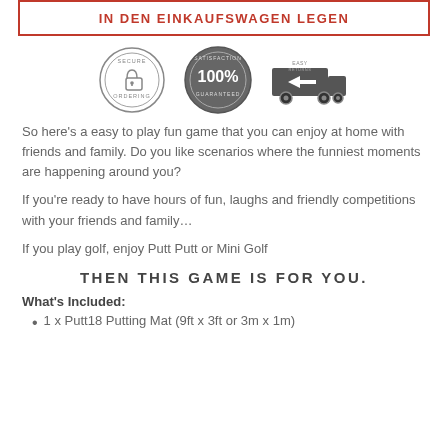IN DEN EINKAUFSWAGEN LEGEN
[Figure (infographic): Three trust badge icons: Secure Ordering lock badge, 100% Satisfaction Guaranteed badge, Easy Returns truck badge]
So here's a easy to play fun game that you can enjoy at home with friends and family. Do you like scenarios where the funniest moments are happening around you?
If you're ready to have hours of fun, laughs and friendly competitions with your friends and family…
If you play golf, enjoy Putt Putt or Mini Golf
THEN THIS GAME IS FOR YOU.
What's Included:
1 x Putt18 Putting Mat (9ft x 3ft or 3m x 1m)